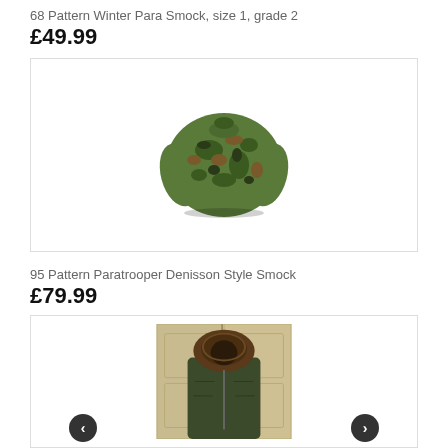68 Pattern Winter Para Smock, size 1, grade 2
£49.99
[Figure (photo): Camouflage DPM pattern military smock jacket laid flat on white background]
95 Pattern Paratrooper Denisson Style Smock
£79.99
[Figure (photo): Person wearing dark olive/green military parka coat with fur-trimmed hood, image partially visible, with navigation arrows on either side]